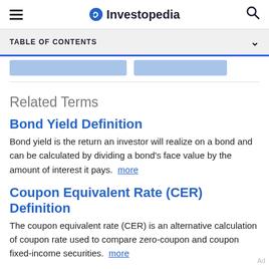Investopedia
TABLE OF CONTENTS
Related Terms
Bond Yield Definition
Bond yield is the return an investor will realize on a bond and can be calculated by dividing a bond's face value by the amount of interest it pays. more
Coupon Equivalent Rate (CER) Definition
The coupon equivalent rate (CER) is an alternative calculation of coupon rate used to compare zero-coupon and coupon fixed-income securities. more